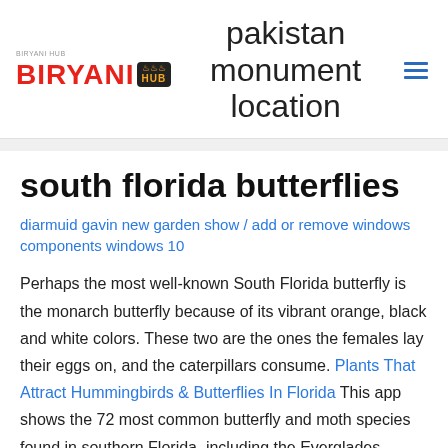[Figure (logo): Biryani Hub logo with red BIRYANI text and yellow HUB text on black background]
pakistan monument location
[Figure (other): Hamburger menu icon in blue]
south florida butterflies
diarmuid gavin new garden show / add or remove windows components windows 10
Perhaps the most well-known South Florida butterfly is the monarch butterfly because of its vibrant orange, black and white colors. These two are the ones the females lay their eggs on, and the caterpillars consume. Plants That Attract Hummingbirds & Butterflies In Florida This app shows the 72 most common butterfly and moth species found in southern Florida, including the Everglades National Park. Rare or Endangered Butterflies -